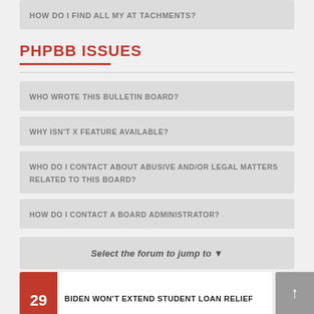HOW DO I FIND ALL MY ATTACHMENTS?
PHPBB ISSUES
WHO WROTE THIS BULLETIN BOARD?
WHY ISN'T X FEATURE AVAILABLE?
WHO DO I CONTACT ABOUT ABUSIVE AND/OR LEGAL MATTERS RELATED TO THIS BOARD?
HOW DO I CONTACT A BOARD ADMINISTRATOR?
Select the forum to jump to ▼
BIDEN WON'T EXTEND STUDENT LOAN RELIEF